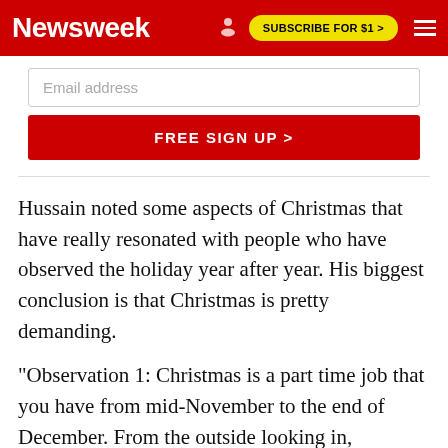Newsweek | SUBSCRIBE FOR $1 >
[Figure (screenshot): Email address input field and FREE SIGN UP button]
Hussain noted some aspects of Christmas that have really resonated with people who have observed the holiday year after year. His biggest conclusion is that Christmas is pretty demanding.
"Observation 1: Christmas is a part time job that you have from mid-November to the end of December. From the outside looking in,